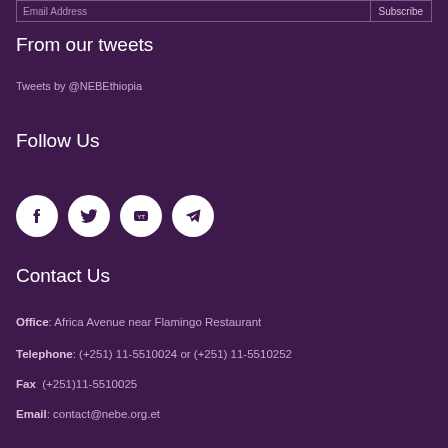Email Address | Subscribe
From our tweets
Tweets by @NEBEthiopia
Follow Us
[Figure (illustration): Four social media icon circles: Facebook (f), Twitter (bird), YouTube (play), Telegram (paper plane)]
Contact Us
Office: Africa Avenue near Flamingo Restaurant
Telephone: (+251) 11-5510024 or (+251) 11-5510252
Fax  (+251)11-5510025
Email: contact@nebe.org.et